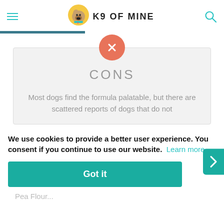K9 OF MINE
CONS
Most dogs find the formula palatable, but there are scattered reports of dogs that do not
We use cookies to provide a better user experience. You consent if you continue to use our website. Learn more
Got it
Pea Flour...